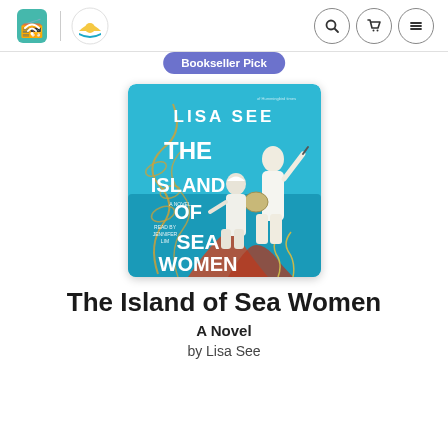Audible / Scribd navigation header with search, cart, and menu icons
[Figure (illustration): Book cover for 'The Island of Sea Women' by Lisa See, audiobook edition read by Jennifer Lim. Blue background with two elderly women in white clothing standing on rocks, decorative plant/seaweed illustrations. 'Bookseller Pick' badge overlaid on top.]
The Island of Sea Women
A Novel
by Lisa See